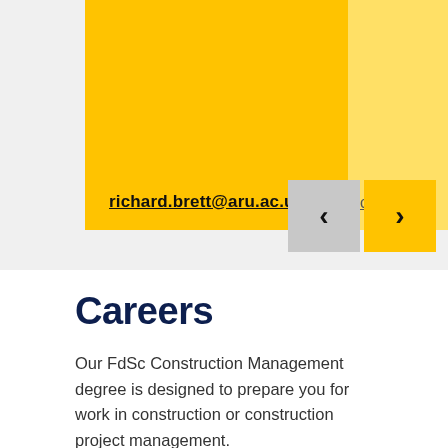richard.brett@aru.ac.uk
chr
[Figure (other): Previous and next navigation buttons; previous is grey, next is yellow with chevron arrows]
Careers
Our FdSc Construction Management degree is designed to prepare you for work in construction or construction project management.
You could follow several routes, such as working